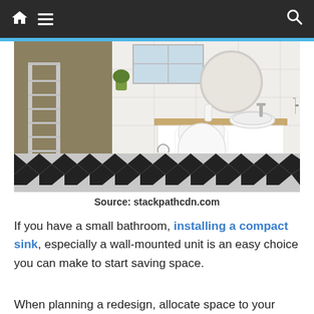Navigation bar with home, menu, and search icons
[Figure (photo): Modern small bathroom interior with black and white checkered floor, wall-mounted toilet, floating vanity with vessel sink, round mirror, heated towel rail, and window with natural light]
Source: stackpathcdn.com
If you have a small bathroom, installing a compact sink, especially a wall-mounted unit is an easy choice you can make to start saving space.
When planning a redesign, allocate space to your